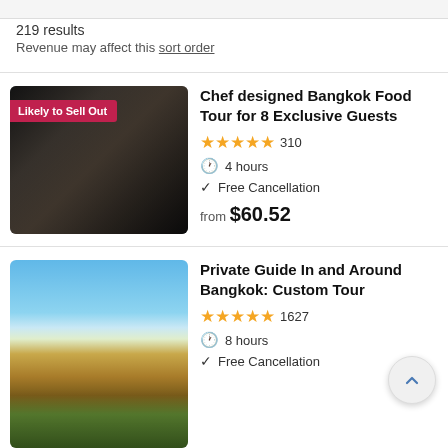219 results
Revenue may affect this sort order
[Figure (photo): Street food vendor stall with dark kitchen background, labeled 'Likely to Sell Out']
Chef designed Bangkok Food Tour for 8 Exclusive Guests
★★★★★ 310
4 hours
Free Cancellation
from $60.52
[Figure (photo): Grand Palace Bangkok with blue sky and ornate Thai architecture]
Private Guide In and Around Bangkok: Custom Tour
★★★★★ 1627
8 hours
Free Cancellation